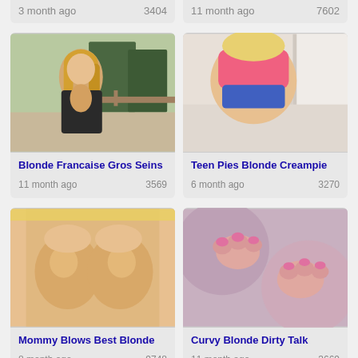3 month ago    3404
11 month ago    7602
[Figure (photo): Blonde woman outdoors in black jacket]
Blonde Francaise Gros Seins
11 month ago    3569
[Figure (photo): Blonde woman in pink top on bed]
Teen Pies Blonde Creampie
6 month ago    3270
[Figure (photo): Blonde woman torso]
Mommy Blows Best Blonde
8 month ago    9748
[Figure (photo): Close-up hands/feet]
Curvy Blonde Dirty Talk
11 month ago    3669